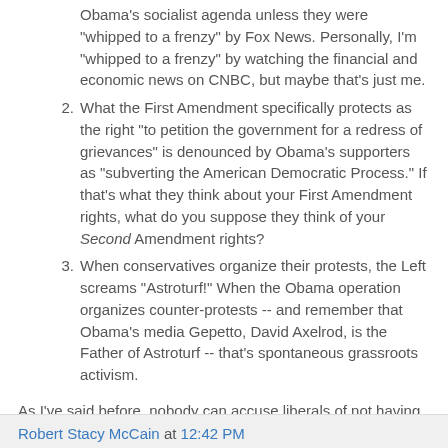Obama's socialist agenda unless they were "whipped to a frenzy" by Fox News. Personally, I'm "whipped to a frenzy" by watching the financial and economic news on CNBC, but maybe that's just me.
What the First Amendment specifically protects as the right "to petition the government for a redress of grievances" is denounced by Obama's supporters as "subverting the American Democratic Process." If that's what they think about your First Amendment rights, what do you suppose they think of your Second Amendment rights?
When conservatives organize their protests, the Left screams "Astroturf!" When the Obama operation organizes counter-protests -- and remember that Obama's media Gepetto, David Axelrod, is the Father of Astroturf -- that's spontaneous grassroots activism.
As I've said before, nobody can accuse liberals of not having standards. They've got exactly two.
Robert Stacy McCain at 12:42 PM